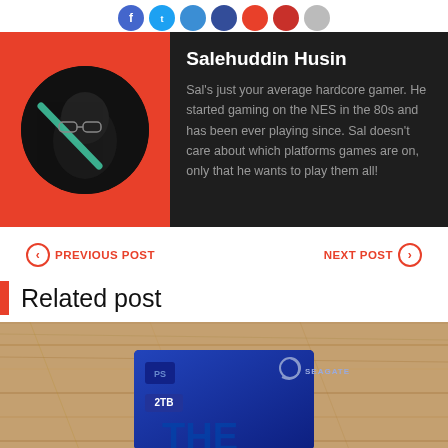[Figure (illustration): Row of social media icon circles (Facebook, Twitter, and others in blue/red/grey) partially visible at top]
[Figure (photo): Author bio card with red left panel showing circular avatar photo of Salehuddin Husin, and dark right panel with name and bio text]
Salehuddin Husin
Sal's just your average hardcore gamer. He started gaming on the NES in the 80s and has been ever playing since. Sal doesn't care about which platforms games are on, only that he wants to play them all!
< PREVIOUS POST
NEXT POST >
Related post
[Figure (photo): Photo of a Seagate PlayStation branded external hard drive box on a wooden floor surface]